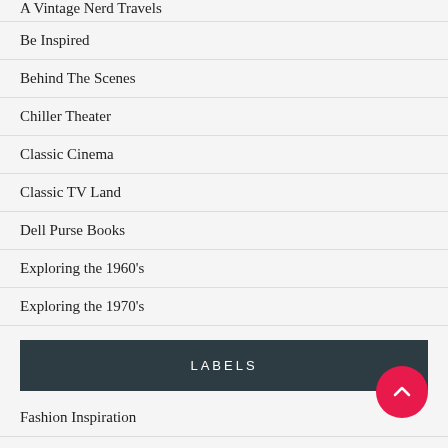A Vintage Nerd Travels
Be Inspired
Behind The Scenes
Chiller Theater
Classic Cinema
Classic TV Land
Dell Purse Books
Exploring the 1960's
Exploring the 1970's
LABELS
Fashion Inspiration
Film Recommendations
Hair and Beauty
Helpful Tips & Tutorials
Lives of Old Hollywood